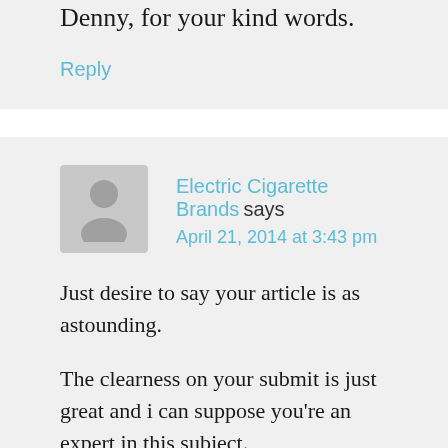Denny, for your kind words.
Reply
Electric Cigarette Brands says April 21, 2014 at 3:43 pm
Just desire to say your article is as astounding.
The clearness on your submit is just great and i can suppose you're an expert in this subject.
Well along with your permission let